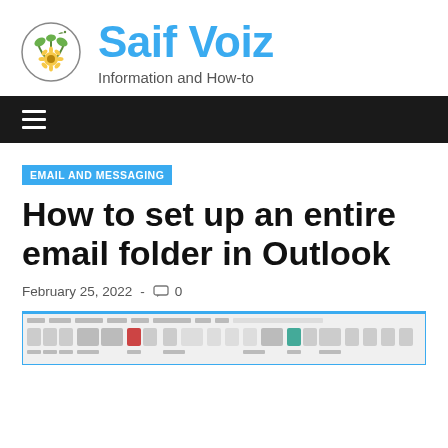Saif Voiz — Information and How-to
EMAIL AND MESSAGING
How to set up an entire email folder in Outlook
February 25, 2022 - 0
[Figure (screenshot): Screenshot of Microsoft Outlook ribbon interface showing toolbar with menus and icons]